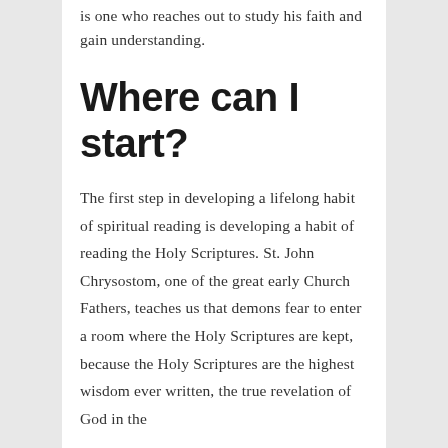is one who reaches out to study his faith and gain understanding.
Where can I start?
The first step in developing a lifelong habit of spiritual reading is developing a habit of reading the Holy Scriptures. St. John Chrysostom, one of the great early Church Fathers, teaches us that demons fear to enter a room where the Holy Scriptures are kept, because the Holy Scriptures are the highest wisdom ever written, the true revelation of God in the